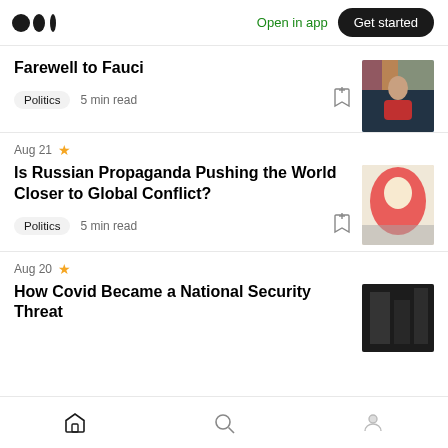Medium app header with logo, Open in app, Get started
Farewell to Fauci
Politics  5 min read
Aug 21
Is Russian Propaganda Pushing the World Closer to Global Conflict?
Politics  5 min read
Aug 20
How Covid Became a National Security Threat
Home  Search  Profile